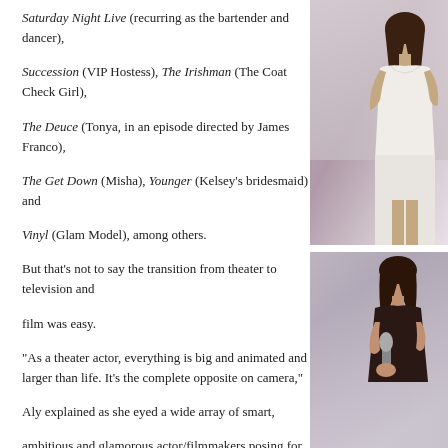Saturday Night Live (recurring as the bartender and dancer), Succession (VIP Hostess), The Irishman (The Coat Check Girl), The Deuce (Tonya, in an episode directed by James Franco), The Get Down (Misha), Younger (Kelsey's bridesmaid) and Vinyl (Glam Model), among others.
But that's not to say the transition from theater to television and film was easy.
"As a theater actor, everything is big and animated and larger than life. It's the complete opposite on camera," Aly explained as she eyed a wide array of smart, ambitious and glamorous actor/filmmakers posing for photos on the Fort Myers Film Festival red carpet under the entablature of the Sidney & Berne Davis Art Center. "[In film], you need to be small and minimalistic."
Exaggerated facial expressions were particularly
[Figure (photo): Woman in white dress standing on stage, upper body visible, photo cropped at right side of page]
[Figure (photo): Woman holding a microphone, speaking or performing, photo at lower right of page]